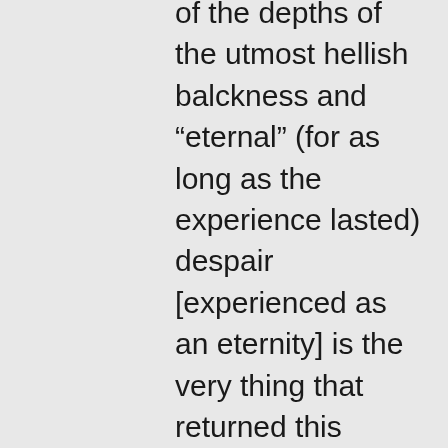of the depths of the utmost hellish balckness and “eternal” (for as long as the experience lasted) despair [experienced as an eternity] is the very thing that returned this wretched soul (through these ‘Athonite Elders’) to Christ himself, I still cannot share your confidence in what is being asserted here